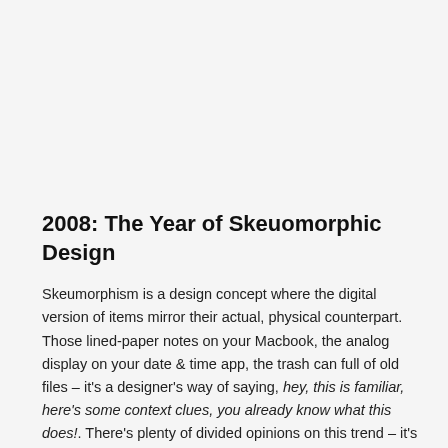2008: The Year of Skeuomorphic Design
Skeumorphism is a design concept where the digital version of items mirror their actual, physical counterpart. Those lined-paper notes on your Macbook, the analog display on your date & time app, the trash can full of old files – it's a designer's way of saying, hey, this is familiar, here's some context clues, you already know what this does!. There's plenty of divided opinions on this trend – it's hated, it's dead, it will never go away – and it's an integral part of the recent Apple Watch design.
[Figure (photo): Image placeholder labeled 'Skeumorphism 2008']